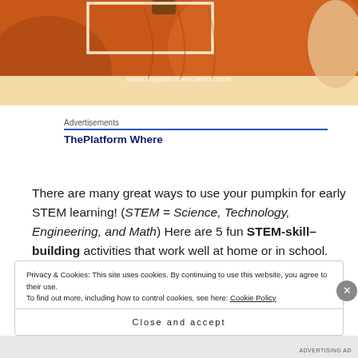[Figure (photo): Close-up photo of an orange pumpkin with a beige/tan background at the bottom, watermark text 'www.stayathomescience.com' visible, and a white rectangular frame/highlight overlay near the top center of the pumpkin.]
Advertisements
ThePlatform Where
There are many great ways to use your pumpkin for early STEM learning! (STEM = Science, Technology, Engineering, and Math) Here are 5 fun STEM-skill–building activities that work well at home or in school.
Privacy & Cookies: This site uses cookies. By continuing to use this website, you agree to their use.
To find out more, including how to control cookies, see here: Cookie Policy
Close and accept